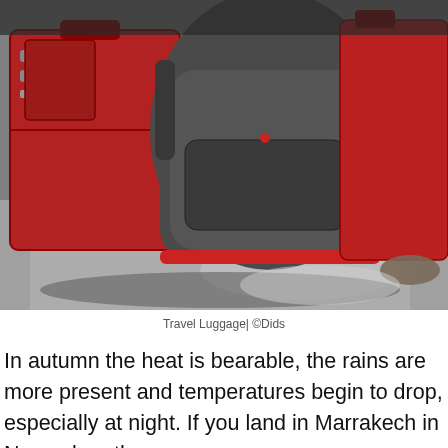[Figure (photo): Photo of travel luggage on pavement: a large red suitcase on the left, a grey and red backpack in the center-right, and parts of other bags visible. The bags are resting on a concrete/asphalt surface.]
Travel Luggage| ©Dids
In autumn the heat is bearable, the rains are more present and temperatures begin to drop, especially at night. If you land in Marrakech in November, the